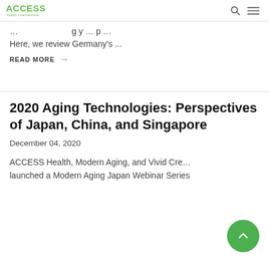ACCESS Health International
… g y … p … Here, we review Germany's …
READ MORE →
2020 Aging Technologies: Perspectives of Japan, China, and Singapore
December 04, 2020
ACCESS Health, Modern Aging, and Vivid Cre… launched a Modern Aging Japan Webinar Series